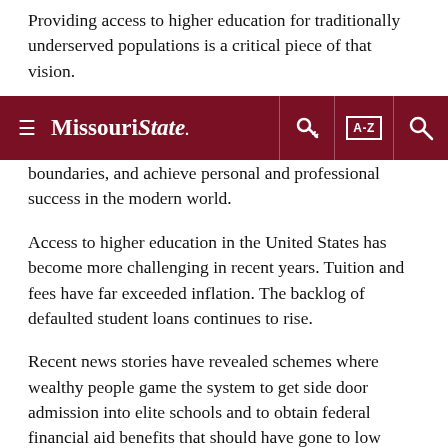Providing access to higher education for traditionally underserved populations is a critical piece of that vision.
Missouri State — navigation bar with hamburger menu, key icon, A-Z index, and search icon
boundaries, and achieve personal and professional success in the modern world.
Access to higher education in the United States has become more challenging in recent years. Tuition and fees have far exceeded inflation. The backlog of defaulted student loans continues to rise.
Recent news stories have revealed schemes where wealthy people game the system to get side door admission into elite schools and to obtain federal financial aid benefits that should have gone to low income students. These stories are aggravating and heart breaking.
Missouri State University must take a bold stand against